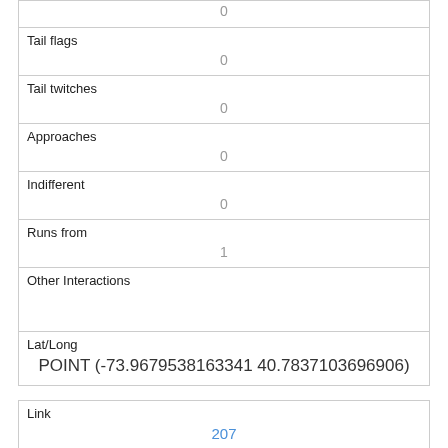| Tail flags | 0 |
| Tail twitches | 0 |
| Approaches | 0 |
| Indifferent | 0 |
| Runs from | 1 |
| Other Interactions |  |
| Lat/Long | POINT (-73.9679538163341 40.7837103696906) |
| Link | 207 |
| rowid | 207 |